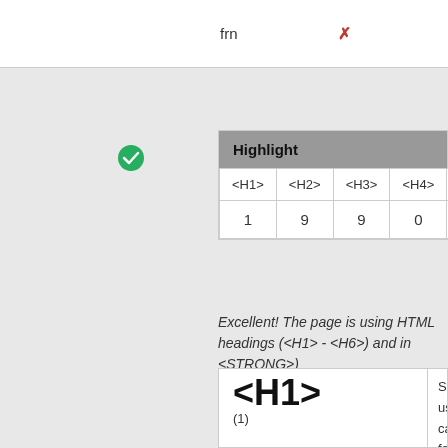| frn | ✗ | ✗ | ✗ |
| --- | --- | --- | --- |
Highlight
| <H1> | <H2> | <H3> | <H4> | <H5> | <H6> | <B> |
| --- | --- | --- | --- | --- | --- | --- |
| 1 | 9 | 9 | 0 | 0 | 0 | 0 |
Excellent! The page is using HTML headings (<H1> - <H6>) and in <STRONG>)
[Figure (screenshot): H1 tag display with content 'Search used cars for sale', count (1)]
[Figure (screenshot): H2 tag display with content 'Search Less. Live More. We make finding the right car simple. Popular makes. Why choose motors.co.uk to find you. Search Less. Live More.', count (9)]